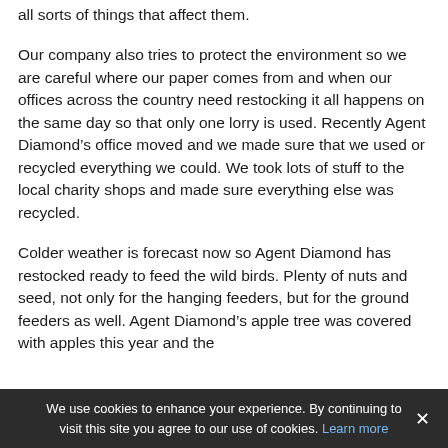all sorts of things that affect them.
Our company also tries to protect the environment so we are careful where our paper comes from and when our offices across the country need restocking it all happens on the same day so that only one lorry is used. Recently Agent Diamond’s office moved and we made sure that we used or recycled everything we could. We took lots of stuff to the local charity shops and made sure everything else was recycled.
Colder weather is forecast now so Agent Diamond has restocked ready to feed the wild birds. Plenty of nuts and seed, not only for the hanging feeders, but for the ground feeders as well. Agent Diamond’s apple tree was covered with apples this year and the
We use cookies to enhance your experience. By continuing to visit this site you agree to our use of cookies. Learn more